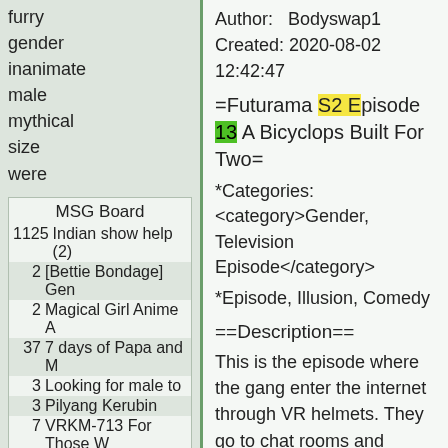furry
gender
inanimate
male
mythical
size
were
MSG Board
| # | Title |
| --- | --- |
| 1125 | Indian show help (2) |
| 2 | [Bettie Bondage] Gen |
| 2 | Magical Girl Anime A |
| 37 | 7 days of Papa and M |
| 3 | Looking for male to |
| 3 | Pilyang Kerubin |
| 7 | VRKM-713 For Those W |
Author:   Bodyswap1
Created: 2020-08-02 12:42:47
=Futurama S2 Episode 13 A Bicyclops Built For Two=
*Categories: <category>Gender, Television Episode</category>
*Episode, Illusion, Comedy
==Description==
This is the episode where the gang enter the internet through VR helmets. They go to chat rooms and Bender pulls up a windows menu in thin air and picks a sexy nurse disguise. He then turns into a sexy nurse and starts to chat to a man after he charges him $15 a minute. The nurse base Bender becomes a